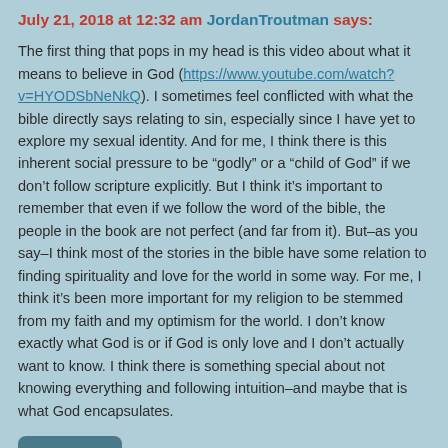July 21, 2018 at 12:32 am JordanTroutman says:
The first thing that pops in my head is this video about what it means to believe in God (https://www.youtube.com/watch?v=HYODSbNeNkQ). I sometimes feel conflicted with what the bible directly says relating to sin, especially since I have yet to explore my sexual identity. And for me, I think there is this inherent social pressure to be “godly” or a “child of God” if we don’t follow scripture explicitly. But I think it’s important to remember that even if we follow the word of the bible, the people in the book are not perfect (and far from it). But–as you say–I think most of the stories in the bible have some relation to finding spirituality and love for the world in some way. For me, I think it’s been more important for my religion to be stemmed from my faith and my optimism for the world. I don’t know exactly what God is or if God is only love and I don’t actually want to know. I think there is something special about not knowing everything and following intuition–and maybe that is what God encapsulates.
REPLY